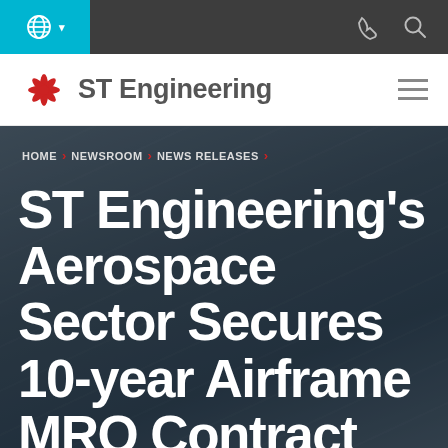ST Engineering website navigation header
[Figure (logo): ST Engineering logo with red sunburst icon and company name]
HOME > NEWSROOM > NEWS RELEASES >
ST Engineering's Aerospace Sector Secures 10-year Airframe MRO Contract